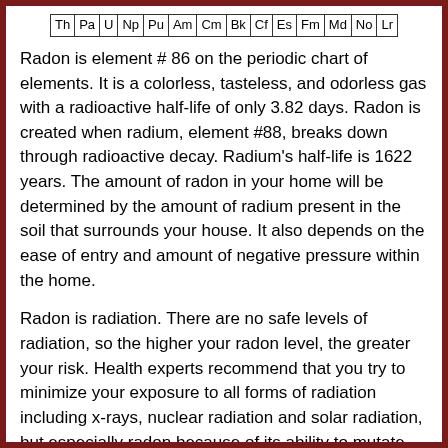| Th | Pa | U | Np | Pu | Am | Cm | Bk | Cf | Es | Fm | Md | No | Lr |
| --- | --- | --- | --- | --- | --- | --- | --- | --- | --- | --- | --- | --- | --- |
Radon is element # 86 on the periodic chart of elements. It is a colorless, tasteless, and odorless gas with a radioactive half-life of only 3.82 days. Radon is created when radium, element #88, breaks down through radioactive decay. Radium's half-life is 1622 years. The amount of radon in your home will be determined by the amount of radium present in the soil that surrounds your house. It also depends on the ease of entry and amount of negative pressure within the home.
Radon is radiation. There are no safe levels of radiation, so the higher your radon level, the greater your risk. Health experts recommend that you try to minimize your exposure to all forms of radiation including x-rays, nuclear radiation and solar radiation, but especially radon because of its ability to mutate cells within the human body.